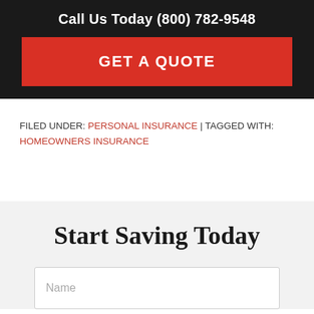Call Us Today (800) 782-9548
GET A QUOTE
FILED UNDER: PERSONAL INSURANCE | TAGGED WITH: HOMEOWNERS INSURANCE
Start Saving Today
Name